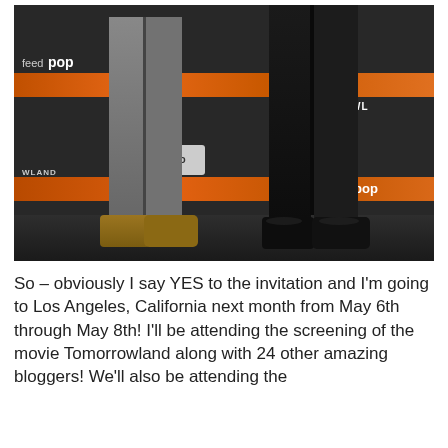[Figure (photo): Photo showing the lower bodies/legs of two people standing in front of a branded backdrop with 'feedpop' and 'TOMORROWLAND' logos. One person wears gray jeans and tan suede shoes; the other wears a black suit and black dress shoes.]
So – obviously I say YES to the invitation and I'm going to Los Angeles, California next month from May 6th through May 8th! I'll be attending the screening of the movie Tomorrowland along with 24 other amazing bloggers! We'll also be attending the